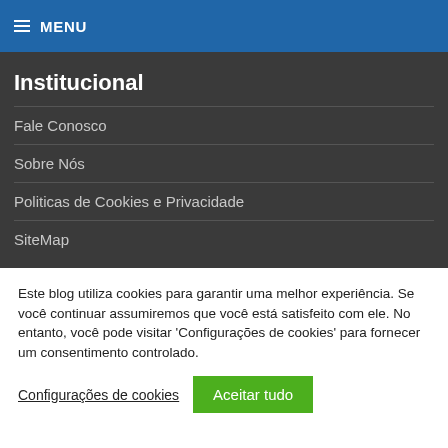≡ MENU
Institucional
Fale Conosco
Sobre Nós
Politicas de Cookies e Privacidade
SiteMap
Este blog utiliza cookies para garantir uma melhor experiência. Se você continuar assumiremos que você está satisfeito com ele. No entanto, você pode visitar 'Configurações de cookies' para fornecer um consentimento controlado.
Configurações de cookies   Aceitar tudo